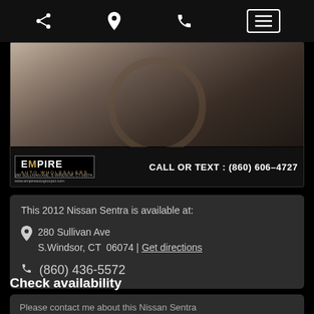[Figure (screenshot): Mobile website navigation bar with share, location, phone, and menu icons on dark background]
[Figure (photo): Car interior photo with Empire Auto Wholesalers dealer banner showing address 280 Sullivan Ave, S.Windsor, CT 06074 and call or text number (860) 606-4727]
This 2012 Nissan Sentra is available at:
280 Sullivan Ave
S.Windsor, CT  06074 | Get directions
(860) 436-5572
Check availability
Please contact me about this Nissan Sentra
My first name*